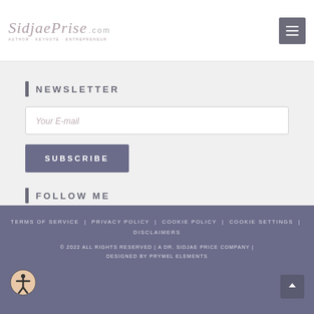[Figure (logo): SidjaePrize.com script logo with tagline]
NEWSLETTER
Your E-mail
SUBSCRIBE
FOLLOW ME
[Figure (other): Social media icons: Twitter, Facebook, Instagram, LinkedIn]
TERMS OF SERVICE | PRIVACY POLICY | COOKIE POLICY | COOKIE SETTINGS | DISCLAIMERS
© 2022 ALL RIGHTS RESERVED | A DR. SIDJAE PRICE COMPANY | DESIGNED BY PRYMEL ELEMENTS